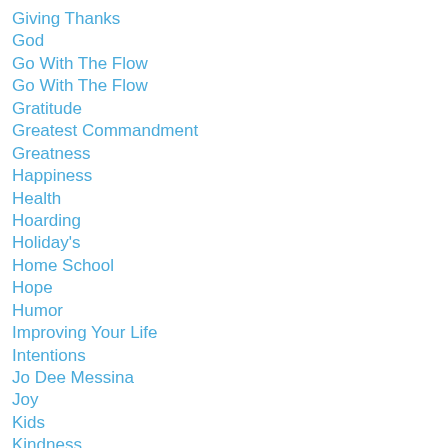Giving Thanks
God
Go With The Flow
Go With The Flow
Gratitude
Greatest Commandment
Greatness
Happiness
Health
Hoarding
Holiday's
Home School
Hope
Humor
Improving Your Life
Intentions
Jo Dee Messina
Joy
Kids
Kindness